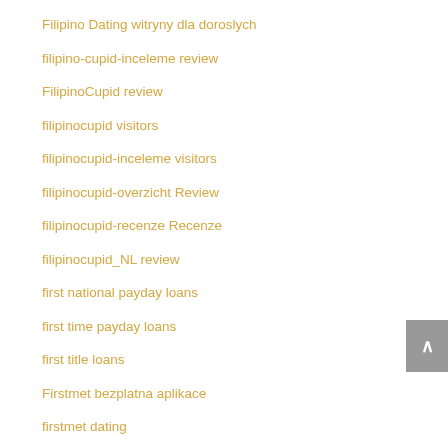Filipino Dating witryny dla doroslych
filipino-cupid-inceleme review
FilipinoCupid review
filipinocupid visitors
filipinocupid-inceleme visitors
filipinocupid-overzicht Review
filipinocupid-recenze Recenze
filipinocupid_NL review
first national payday loans
first time payday loans
first title loans
Firstmet bezplatna aplikace
firstmet dating
firstmet fr review